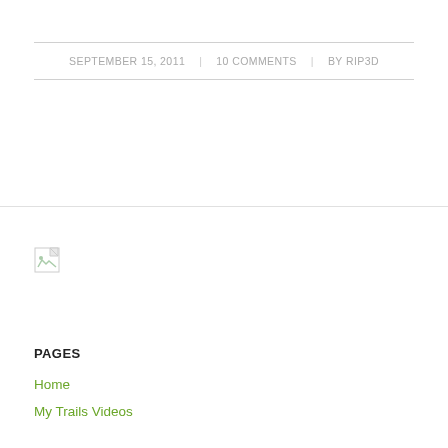SEPTEMBER 15, 2011 | 10 COMMENTS | BY RIP3D
[Figure (illustration): Broken image placeholder icon (small document icon with folded corner)]
PAGES
Home
My Trails Videos